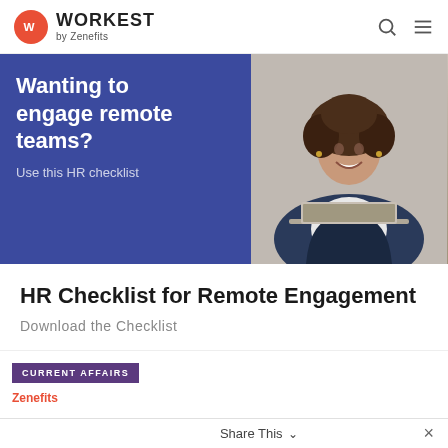WORKEST by Zenefits
[Figure (illustration): Banner image with dark blue/purple background on the left showing partial text 'Wanting to engage remote teams? Use this HR checklist' in white, and a photo of a smiling woman with curly hair using a laptop on the right]
HR Checklist for Remote Engagement
Download the Checklist
CURRENT AFFAIRS
Zenefits
Share This  ×